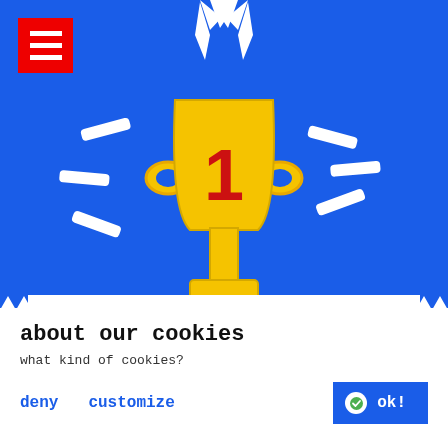[Figure (illustration): Blue background hero section with a yellow trophy cup showing number 1 in red, white ribbon at top, and white sparkle/ray decorations around the trophy. Red square menu button with three white horizontal lines in top-left corner.]
Stop Slavery Award 2022
April 29, 2022 • Aaaand the award goes to.. us!
all news →
about our cookies
what kind of cookies?
deny   customize   ok!